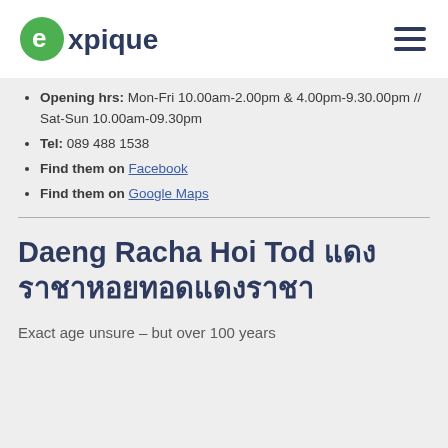expique
Opening hrs: Mon-Fri 10.00am-2.00pm & 4.00pm-9.30.00pm // Sat-Sun 10.00am-09.30pm
Tel: 089 488 1538
Find them on Facebook
Find them on Google Maps
Daeng Racha Hoi Tod [Thai characters]
Exact age unsure – but over 100 years